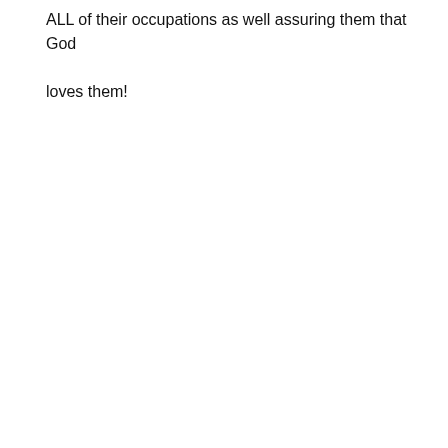ALL of their occupations as well assuring them that God loves them!